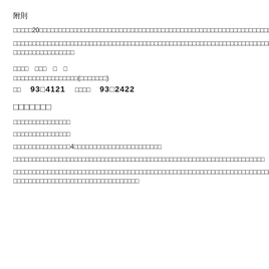附則
この規則は、20□□年□□月□□日から施行する。ただし、第□□条の規定は□□年□□月□□日から施行する。
この規則の施行に際し、□□□□□□□□□□□□□□□□□□□□□□□□□□□□□□□□□□□□□□□□□□□□□□□□□□□□□□□□□□□□□□□□□□□□□□□□□□□□□□□□□□□□□□□□□□□□□□□□□□□□□□□□□□□□□□□□□□□□□□□□□□□□□□□□□□□□□□□
□□□□　□□□　□　□
□□□□□□□□□□□□□□□□□(□□□□□□□)
□□　930-4121　□□□□　930-2422
□□□□□□□
□□□□□□□□□□□□□□□
□□□□□□□□□□□□□□□
□□□□□□□□□□□□□4□□□□□□□□□□□□□□□□□□□□□□□
□□□□□□□□□□□□□□□□□□□□□□□□□□□□□□□□□□□□□□□□□□□□□□□□□□□□□□□□□□□□□□□□□□
□□□□□□□□□□□□□□□□□□□□□□□□□□□□□□□□□□□□□□□□□□□□□□□□□□□□□□□□□□□□□□□□□□□□□□□□□□□□□□□□□□□□□□□□□□□□□□□□□□□□□□□□□□□□□□□□